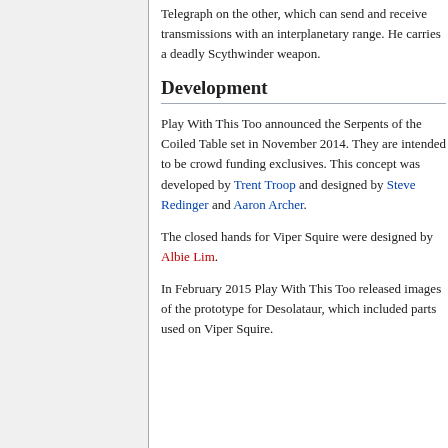Telegraph on the other, which can send and receive transmissions with an interplanetary range. He carries a deadly Scythwinder weapon.
Development
Play With This Too announced the Serpents of the Coiled Table set in November 2014. They are intended to be crowd funding exclusives. This concept was developed by Trent Troop and designed by Steve Redinger and Aaron Archer.
The closed hands for Viper Squire were designed by Albie Lim.
In February 2015 Play With This Too released images of the prototype for Desolataur, which included parts used on Viper Squire.